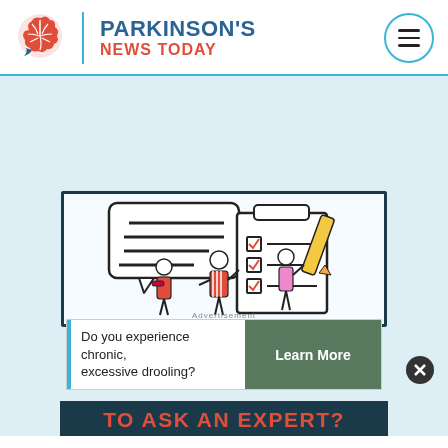[Figure (logo): Parkinson's News Today logo with red brain icon and teal divider]
PARKINSON'S NEWS TODAY
[Figure (illustration): Three illustrated people around a speech bubble and checklist clipboard with a pencil. Advertisement label visible.]
Do you experience chronic, excessive drooling?
Learn More
TO ASK AN EXPERT?